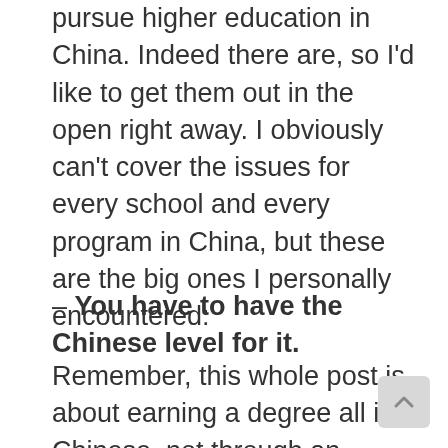pursue higher education in China. Indeed there are, so I'd like to get them out in the open right away. I obviously can't cover the issues for every school and every program in China, but these are the big ones I personally encountered:
– You have to have the Chinese level for it.
Remember, this whole post is about earning a degree all in Chinese, not through an English language program. To